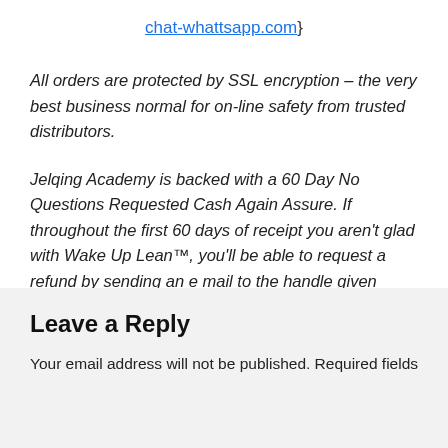chat-whattsapp.com}
All orders are protected by SSL encryption – the very best business normal for on-line safety from trusted distributors.
Jelqing Academy is backed with a 60 Day No Questions Requested Cash Again Assure. If throughout the first 60 days of receipt you aren't glad with Wake Up Lean™, you'll be able to request a refund by sending an e mail to the handle given contained in the product and we'll instantly refund your whole buy value, with no questions requested.
Leave a Reply
Your email address will not be published. Required fields